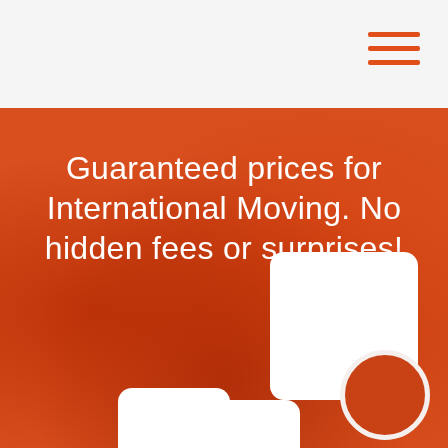[Figure (other): Hamburger menu icon with three orange horizontal lines in the top-right corner of a light gray header bar]
Guaranteed prices for International Moving. No hidden fees or surprises!
[Figure (illustration): Decorative white rounded-rectangle cards and an orange circle overlaid on a blurred orange city background, partially visible at the bottom of the hero section]